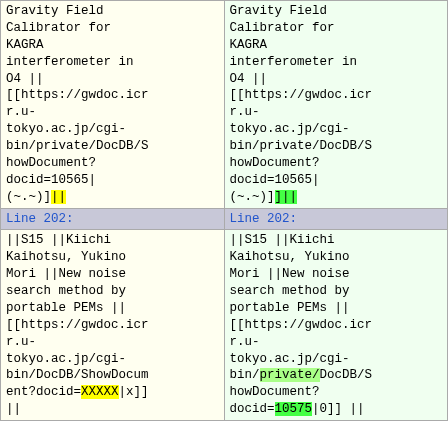| Old | New |
| --- | --- |
| Gravity Field Calibrator for KAGRA interferometer in O4 || [[https://gwdoc.icr r.u-tokyo.ac.jp/cgi-bin/private/DocDB/S howDocument?docid=10565|(~.~)]] || | Gravity Field Calibrator for KAGRA interferometer in O4 || [[https://gwdoc.icr r.u-tokyo.ac.jp/cgi-bin/private/DocDB/S howDocument?docid=10565|(~.~)]]] || |
| Line 202: | Line 202: |
| ||S15 ||Kiichi Kaihotsu, Yukino Mori ||New noise search method by portable PEMs || [[https://gwdoc.icr r.u-tokyo.ac.jp/cgi-bin/DocDB/ShowDocum ent?docid=XXXXX|x]] || || | ||S15 ||Kiichi Kaihotsu, Yukino Mori ||New noise search method by portable PEMs || [[https://gwdoc.icr r.u-tokyo.ac.jp/cgi-bin/private/DocDB/S howDocument?docid=10575|0]] || || |